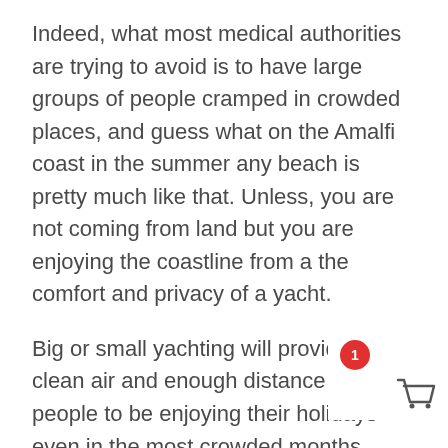Indeed, what most medical authorities are trying to avoid is to have large groups of people cramped in crowded places, and guess what on the Amalfi coast in the summer any beach is pretty much like that. Unless, you are not coming from land but you are enjoying the coastline from a the comfort and privacy of a yacht.
Big or small yachting will provide the clean air and enough distance for people to be enjoying their holidays even in the most crowded months without ever needing to be going through crowded places. If you are coming from the UK you can very w